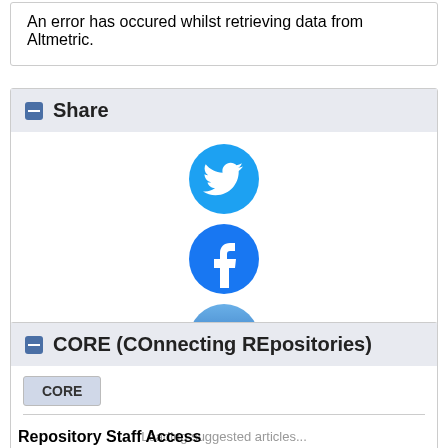An error has occured whilst retrieving data from Altmetric.
Share
[Figure (illustration): Three social share icons stacked vertically: Twitter (blue bird icon), Facebook (blue f icon), Email (blue envelope icon)]
CORE (COnnecting REpositories)
CORE
Loading suggested articles...
Repository Staff Access